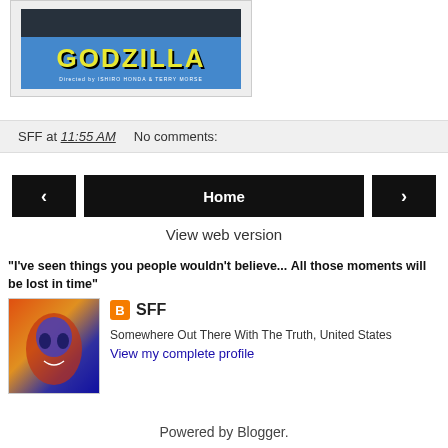[Figure (photo): Godzilla movie poster showing the title 'GODZILLA' in yellow letters on a blue background, with 'Directed by ISHIRO HONDA & TERRY MORSE' subtitle]
SFF at 11:55 AM    No comments:
‹
Home
›
View web version
"I've seen things you people wouldn't believe... All those moments will be lost in time"
[Figure (illustration): Profile avatar showing a colorful sci-fi face illustration]
SFF
Somewhere Out There With The Truth, United States
View my complete profile
Powered by Blogger.